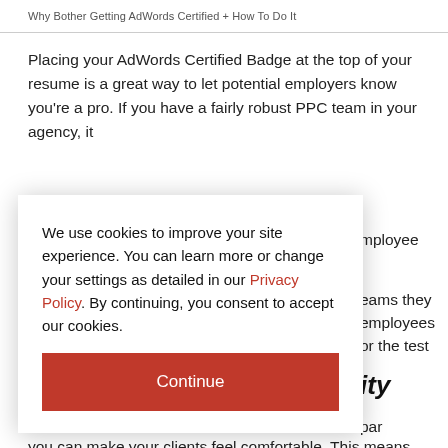Why Bother Getting AdWords Certified + How To Do It
Placing your AdWords Certified Badge at the top of your resume is a great way to let potential employers know you're a pro. If you have a fairly robust PPC team in your agency, it
mployee
eams they
employees
or the test
ity
par agencies
important
you can make your clients feel comfortable. This means
[Figure (screenshot): Cookie consent modal dialog overlay with text: 'We use cookies to improve your site experience. You can learn more or change your settings as detailed in our Privacy Policy. By continuing, you consent to accept our cookies.' and a red Continue button.]